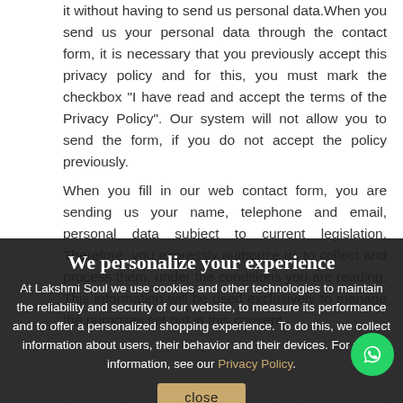it without having to send us personal data. When you send us your personal data through the contact form, it is necessary that you previously accept this privacy policy and for this, you must mark the checkbox "I have read and accept the terms of the Privacy Policy". Our system will not allow you to send the form, if you do not accept the policy previously.
When you fill in our web contact form, you are sending us your name, telephone and email, personal data subject to current legislation. Therefore, you expressly authorize us to collect and process them, under the conditions you are reading. This information will be used exclusively to manage the purposes set out in this consent.
Users will respond, in any case, to the veracity of the data provided and the privacy, to maintaining our the changes through the users, to the harm of third
The user is warned that, except for the existence of a legally constituted representation, no User may use the identity of another person and communicate thi
We personalize your experience
At Lakshmi Soul we use cookies and other technologies to maintain the reliability and security of our website, to measure its performance and to offer a personalized shopping experience. To do this, we collect information about users, their behavior and their devices. For more information, see our Privacy Policy.
close